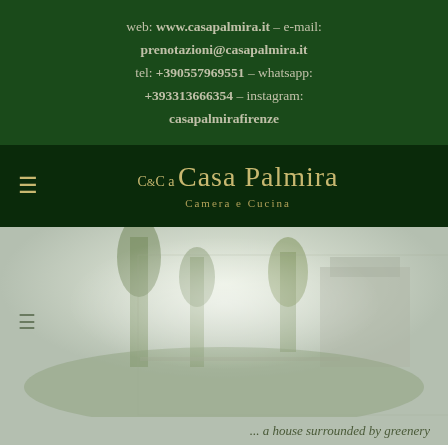web: www.casapalmira.it – e-mail: prenotazioni@casapalmira.it tel: +390557969551 – whatsapp: +393313666354 – instagram: casapalmirafirenze
C&C a Casa Palmira – Camera e Cucina
[Figure (photo): Exterior garden view of Casa Palmira, a house surrounded by greenery with trees and vegetation, faded/washed-out style image]
... a house surrounded by greenery